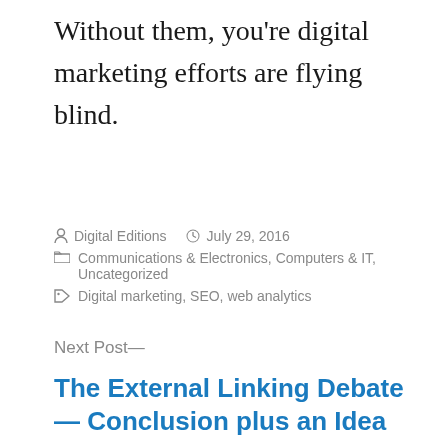Without them, you're digital marketing efforts are flying blind.
Posted by Digital Editions  July 29, 2016  Communications & Electronics, Computers & IT, Uncategorized  Digital marketing, SEO, web analytics
Next Post—
The External Linking Debate — Conclusion plus an Idea